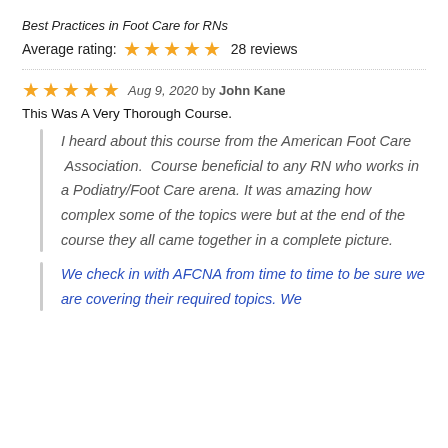Best Practices in Foot Care for RNs
Average rating: ★★★★★ 28 reviews
★★★★★ Aug 9, 2020 by John Kane
This Was A Very Thorough Course.
I heard about this course from the American Foot Care  Association.  Course beneficial to any RN who works in a Podiatry/Foot Care arena. It was amazing how complex some of the topics were but at the end of the course they all came together in a complete picture.
We check in with AFCNA from time to time to be sure we are covering their required topics. We